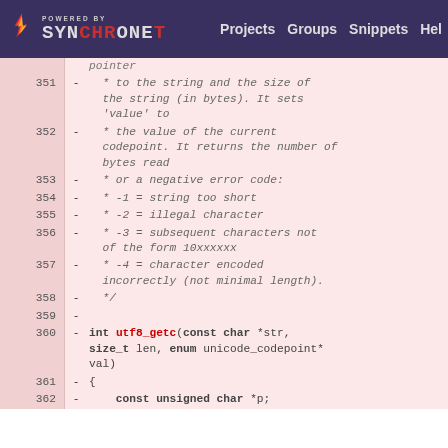POWERED BY SYNCHRONET | Projects | Groups | Snippets | Help
Code diff view lines 351-362 showing utf8_getc function documentation and signature
| line | op | code |
| --- | --- | --- |
|  |  | pointer |
| 351 | - | * to the string and the size of the string (in bytes). It sets 'value' to |
| 352 | - | * the value of the current codepoint. It returns the number of bytes read |
| 353 | - | * or a negative error code: |
| 354 | - | * -1 = string too short |
| 355 | - | * -2 = illegal character |
| 356 | - | * -3 = subsequent characters not of the form 10xxxxxx |
| 357 | - | * -4 = character encoded incorrectly (not minimal length). |
| 358 | - | */ |
| 359 | - |  |
| 360 | - | int utf8_getc(const char *str, size_t len, enum unicode_codepoint* val) |
| 361 | - | { |
| 362 | - |     const unsigned char *p; |